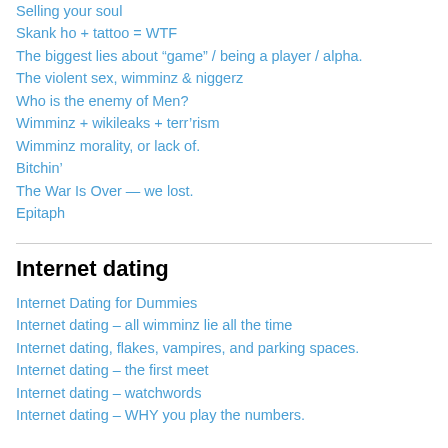Selling your soul
Skank ho + tattoo = WTF
The biggest lies about “game” / being a player / alpha.
The violent sex, wimminz & niggerz
Who is the enemy of Men?
Wimminz + wikileaks + terr’rism
Wimminz morality, or lack of.
Bitchin’
The War Is Over — we lost.
Epitaph
Internet dating
Internet Dating for Dummies
Internet dating – all wimminz lie all the time
Internet dating, flakes, vampires, and parking spaces.
Internet dating – the first meet
Internet dating – watchwords
Internet dating – WHY you play the numbers.